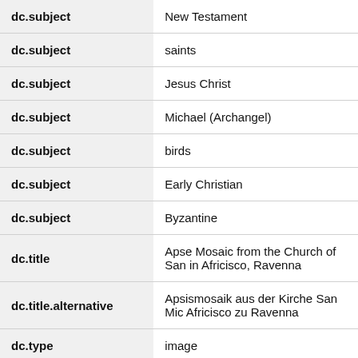| Field | Value |
| --- | --- |
| dc.subject | New Testament |
| dc.subject | saints |
| dc.subject | Jesus Christ |
| dc.subject | Michael (Archangel) |
| dc.subject | birds |
| dc.subject | Early Christian |
| dc.subject | Byzantine |
| dc.title | Apse Mosaic from the Church of San in Africisco, Ravenna |
| dc.title.alternative | Apsismosaik aus der Kirche San Mic Africisco zu Ravenna |
| dc.type | image |
| dc.rights.access | Licensed for educational and research the MIT community only |